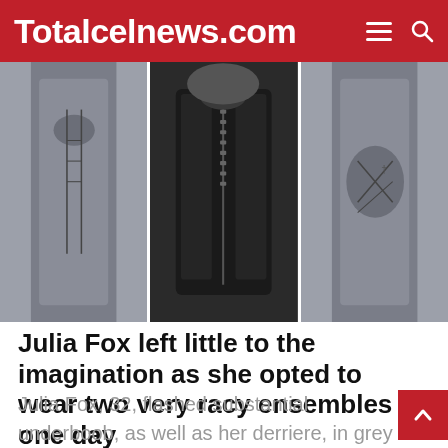Totalcelnews.com
[Figure (photo): Three photos of Julia Fox wearing revealing outfits: left and right show grey cut-out lace-up ensemble, center shows a black leather zip-up dress]
Julia Fox left little to the imagination as she opted to wear two very racy ensembles in one day
Julia Fox, 32, flashed substantial underboob, as well as her derriere, in grey Alejandre ch… and a matching cut-out top.